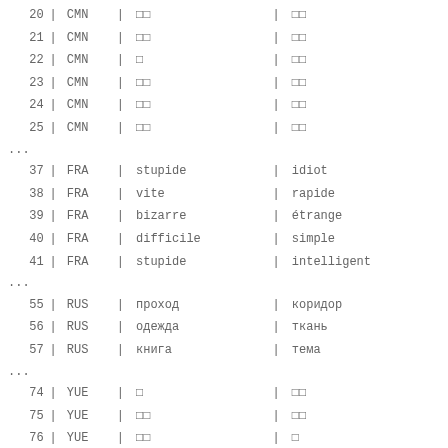| # | lang | word1 | word2 |
| --- | --- | --- | --- |
| 20 | CMN | □□ | □□ |
| 21 | CMN | □□ | □□ |
| 22 | CMN | □ | □□ |
| 23 | CMN | □□ | □□ |
| 24 | CMN | □□ | □□ |
| 25 | CMN | □□ | □□ |
| ... |  |  |  |
| 37 | FRA | stupide | idiot |
| 38 | FRA | vite | rapide |
| 39 | FRA | bizarre | étrange |
| 40 | FRA | difficile | simple |
| 41 | FRA | stupide | intelligent |
| ... |  |  |  |
| 55 | RUS | проход | коридор |
| 56 | RUS | одежда | ткань |
| 57 | RUS | книга | тема |
| ... |  |  |  |
| 74 | YUE | □ | □□ |
| 75 | YUE | □□ | □□ |
| 76 | YUE | □□ | □ |
| 77 | YUE | □□ | □□ |
| 78 | YUE | □□ | □□ |